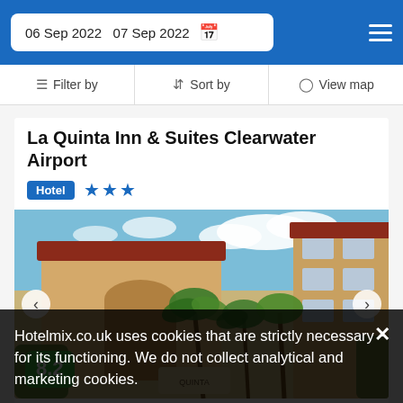06 Sep 2022  07 Sep 2022
Filter by  Sort by  View map
La Quinta Inn & Suites Clearwater Airport
Hotel ★★★
[Figure (photo): Exterior photo of La Quinta Inn & Suites Clearwater Airport showing the hotel building entrance with arched entryway, palm trees, red tile roof, and a blue sky with clouds. A score badge of 8.2 is visible in the lower left corner.]
8.2
Hotelmix.co.uk uses cookies that are strictly necessary for its functioning. We do not collect analytical and marketing cookies.
Great
1700 yd from Feather Sound Country Club